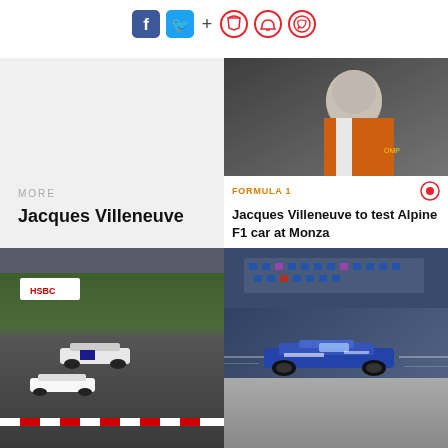[Figure (screenshot): Social media icons: Facebook (blue), Twitter (blue bird), plus sign, and three red circular icons (bookmark, bell, chat)]
MORE
Jacques Villeneuve
[Figure (photo): Portrait photo of Jacques Villeneuve in orange and white racing suit, bald man looking to the side]
FORMULA 1
Jacques Villeneuve to test Alpine F1 car at Monza
[Figure (photo): Formula 1 race cars on track with HSBC banner, multiple cars in action]
[Figure (photo): Formula 1 blue and white car on track, motion blur effect]